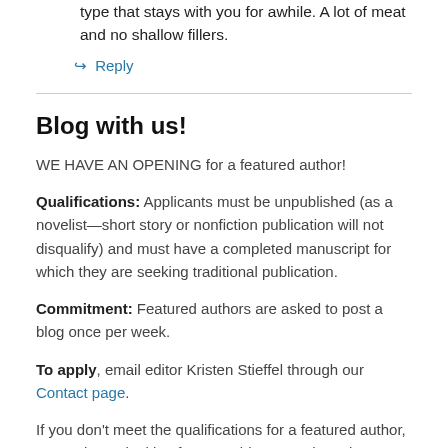type that stays with you for awhile. A lot of meat and no shallow fillers.
↪ Reply
Blog with us!
WE HAVE AN OPENING for a featured author!
Qualifications: Applicants must be unpublished (as a novelist—short story or nonfiction publication will not disqualify) and must have a completed manuscript for which they are seeking traditional publication.
Commitment: Featured authors are asked to post a blog once per week.
To apply, email editor Kristen Stieffel through our Contact page.
If you don't meet the qualifications for a featured author, we're always looking for guest bloggers who write Christian SpecFic. Guest bloggers